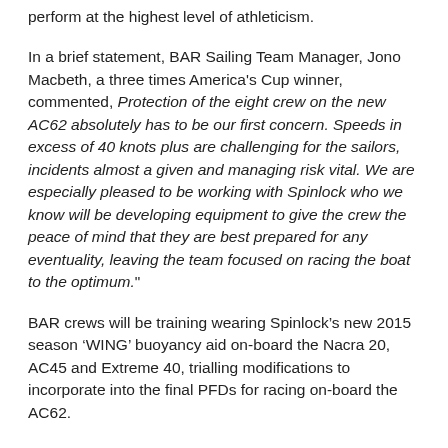perform at the highest level of athleticism.
In a brief statement, BAR Sailing Team Manager, Jono Macbeth, a three times America's Cup winner, commented, Protection of the eight crew on the new AC62 absolutely has to be our first concern. Speeds in excess of 40 knots plus are challenging for the sailors, incidents almost a given and managing risk vital. We are especially pleased to be working with Spinlock who we know will be developing equipment to give the crew the peace of mind that they are best prepared for any eventuality, leaving the team focused on racing the boat to the optimum."
BAR crews will be training wearing Spinlock’s new 2015 season ‘WING’ buoyancy aid on-board the Nacra 20, AC45 and Extreme 40, trialling modifications to incorporate into the final PFDs for racing on-board the AC62.